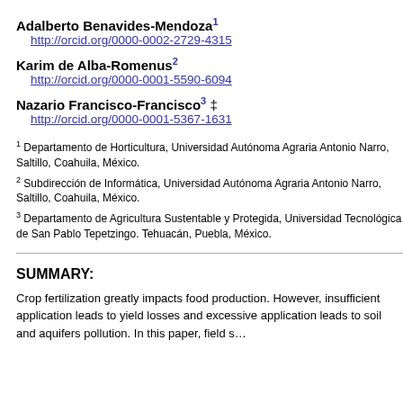Adalberto Benavides-Mendoza¹
http://orcid.org/0000-0002-2729-4315
Karim de Alba-Romenus²
http://orcid.org/0000-0001-5590-6094
Nazario Francisco-Francisco³ ‡
http://orcid.org/0000-0001-5367-1631
1 Departamento de Horticultura, Universidad Autónoma Agraria Antonio Narro, Saltillo, Coahuila, México.
2 Subdirección de Informática, Universidad Autónoma Agraria Antonio Narro, Saltillo, Coahuila, México.
3 Departamento de Agricultura Sustentable y Protegida, Universidad Tecnológica de San Pablo Tepetzingo. Tehuacán, Puebla, México.
SUMMARY:
Crop fertilization greatly impacts food production. However, insufficient application leads to yield losses and excessive application leads to soil and aquifers pollution. In this paper, field s…